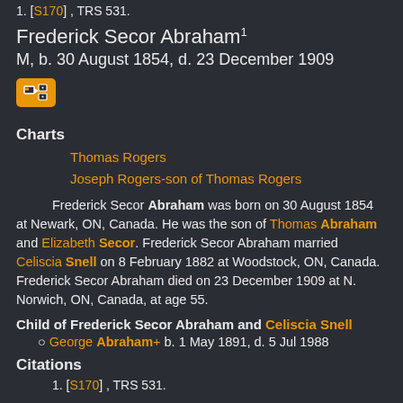1. [S170] , TRS 531.
Frederick Secor Abraham¹
M, b. 30 August 1854, d. 23 December 1909
Charts
Thomas Rogers
Joseph Rogers-son of Thomas Rogers
Frederick Secor Abraham was born on 30 August 1854 at Newark, ON, Canada. He was the son of Thomas Abraham and Elizabeth Secor. Frederick Secor Abraham married Celiscia Snell on 8 February 1882 at Woodstock, ON, Canada. Frederick Secor Abraham died on 23 December 1909 at N. Norwich, ON, Canada, at age 55.
Child of Frederick Secor Abraham and Celiscia Snell
George Abraham+ b. 1 May 1891, d. 5 Jul 1988
Citations
1. [S170] , TRS 531.